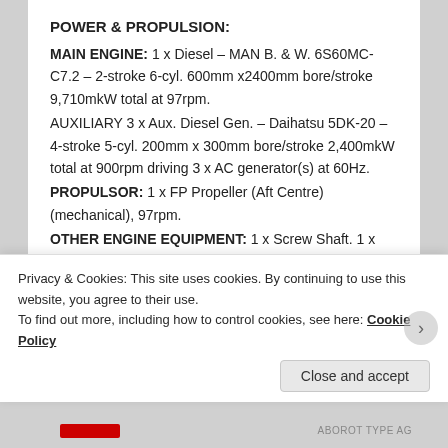POWER & PROPULSION:
MAIN ENGINE: 1 x Diesel – MAN B. & W. 6S60MC-C7.2 – 2-stroke 6-cyl. 600mm x2400mm bore/stroke 9,710mkW total at 97rpm.
AUXILIARY 3 x Aux. Diesel Gen. – Daihatsu 5DK-20 – 4-stroke 5-cyl. 200mm x 300mm bore/stroke 2,400mkW total at 900rpm driving 3 x AC generator(s) at 60Hz.
PROPULSOR: 1 x FP Propeller (Aft Centre) (mechanical), 97rpm.
OTHER ENGINE EQUIPMENT: 1 x Screw Shaft. 1 x Steering Gear.
ENVIRONMENTAL EQUIPMENT: 2 x BWTS – Ballast
Privacy & Cookies: This site uses cookies. By continuing to use this website, you agree to their use.
To find out more, including how to control cookies, see here: Cookie Policy
Close and accept